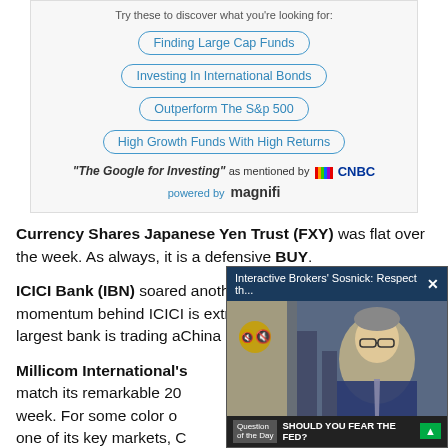[Figure (screenshot): Advertisement banner for Magnifi investing platform with pill-shaped links: Finding Large Cap Funds, Investing In International Bonds, Outperform The S&p 500, High Growth Funds With High Returns. Tagline: 'The Google for Investing' as mentioned by CNBC. Powered by magnifi.]
Currency Shares Japanese Yen Trust (FXY) was flat over the week. As always, it is a defensive BUY.
ICICI Bank (IBN) soared another 13.72% this week.  The momentum behind ICICI is extraordinary. Remember India's largest bank is trading a[t a fraction of what banks in] China are trading. "India[...]
Millicom International'[s ...] match its remarkable 20[...] week. For some color o[n ...] one of its key markets, C[...] Remember, Colombia is[...]
[Figure (screenshot): Video overlay popup: Interactive Brokers' Sosnick: Respect th... with close button X. Shows a man in suit with glasses. Bottom bar: Question of the Day - SHOULD YOU FEAR THE FED? with up arrow.]